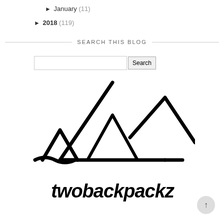► January (11)
► 2018 (119)
SEARCH THIS BLOG
[Figure (logo): twobackpackz logo with mountain/triangle line art design above the text 'twobackpackz' in handwritten style]